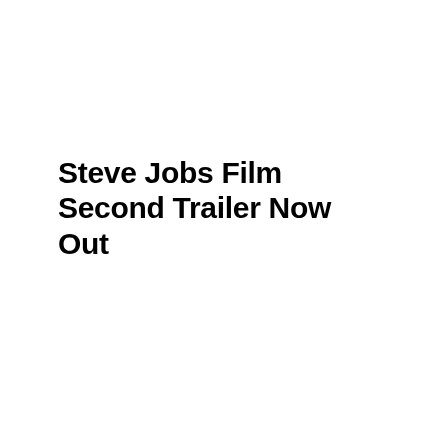Steve Jobs Film Second Trailer Now Out